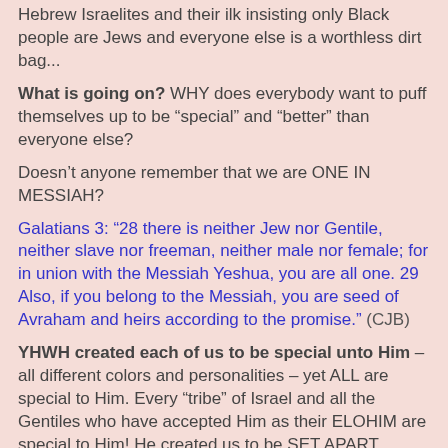Hebrew Israelites and their ilk insisting only Black people are Jews and everyone else is a worthless dirt bag...
What is going on? WHY does everybody want to puff themselves up to be “special” and “better” than everyone else?
Doesn’t anyone remember that we are ONE IN MESSIAH?
Galatians 3: “28 there is neither Jew nor Gentile, neither slave nor freeman, neither male nor female; for in union with the Messiah Yeshua, you are all one. 29 Also, if you belong to the Messiah, you are seed of Avraham and heirs according to the promise.” (CJB)
YHWH created each of us to be special unto Him – all different colors and personalities – yet ALL are special to Him. Every “tribe” of Israel and all the Gentiles who have accepted Him as their ELOHIM are special to Him! He created us to be SET APART FROM THE WORLD … to worship and obey Him only; NOT to engage in endless fights over Him!
He also created that we should Him as one, with absolutely...